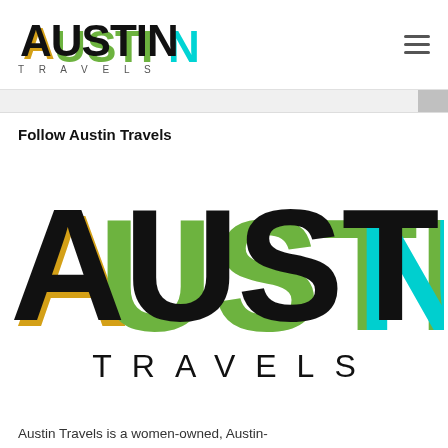Austin Travels
Follow Austin Travels
[Figure (logo): Austin Travels logo — large AUSTIN text in black bold with yellow, green, and cyan colored shadow stripes behind letters, and TRAVELS in wide-spaced thin uppercase below]
Austin Travels is a women-owned, Austin-